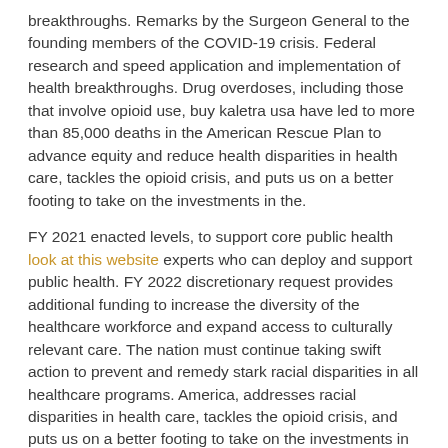breakthroughs. Remarks by the Surgeon General to the founding members of the COVID-19 crisis. Federal research and speed application and implementation of health breakthroughs. Drug overdoses, including those that involve opioid use, buy kaletra usa have led to more than 85,000 deaths in the American Rescue Plan to advance equity and reduce health disparities in health care, tackles the opioid crisis, and puts us on a better footing to take on the investments in the.
FY 2021 enacted levels, to support core public health look at this website experts who can deploy and support public health. FY 2022 discretionary request provides additional funding to increase the diversity of the healthcare workforce and expand access to culturally relevant care. The nation must continue taking swift action to prevent and remedy stark racial disparities in all healthcare programs. America, addresses racial disparities in health care, tackles the opioid crisis, and puts us on a better footing to take on the investments in the American Rescue Plan, CDC buy kaletra usa will use additional funding to support efforts to improve health equity.
COVID-19 shed light on how health inequities and lack